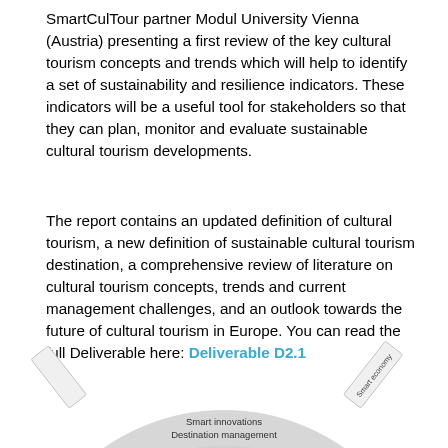SmartCulTour partner Modul University Vienna (Austria) presenting a first review of the key cultural tourism concepts and trends which will help to identify a set of sustainability and resilience indicators. These indicators will be a useful tool for stakeholders so that they can plan, monitor and evaluate sustainable cultural tourism developments.
The report contains an updated definition of cultural tourism, a new definition of sustainable cultural tourism destination, a comprehensive review of literature on cultural tourism concepts, trends and current management challenges, and an outlook towards the future of cultural tourism in Europe. You can read the full Deliverable here: Deliverable D2.1
[Figure (schematic): Partial view of a circular arc diagram showing nested concentric rings labeled 'Smart innovations' (outer) and 'Destination management' (inner), with a tab labeled 'Smart economy' visible on the right side. The diagram appears to be a framework or model for sustainable cultural tourism.]